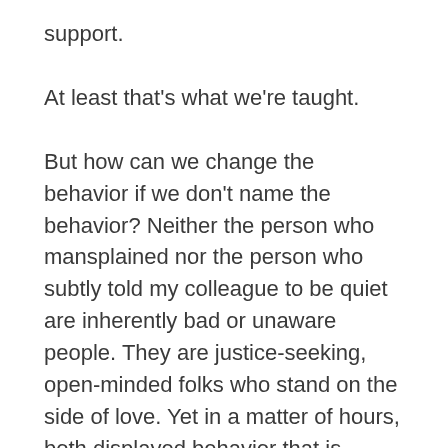support.
At least that’s what we’re taught.
But how can we change the behavior if we don’t name the behavior? Neither the person who mansplained nor the person who subtly told my colleague to be quiet are inherently bad or unaware people. They are justice-seeking, open-minded folks who stand on the side of love. Yet in a matter of hours, both displayed behavior that is meant (even unconsciously) to silence, scold, or shame.
As Unitarian Universalists, we regularly put our faith